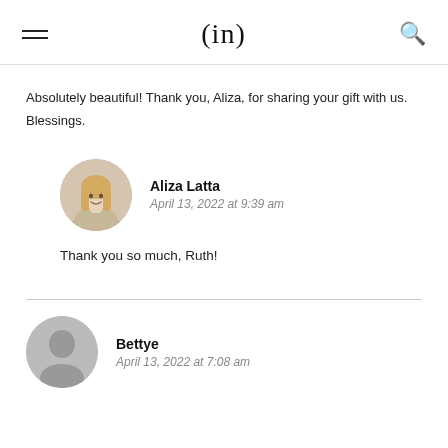(in)
Absolutely beautiful! Thank you, Aliza, for sharing your gift with us. Blessings.
[Figure (photo): Circular profile photo of Aliza Latta, a young woman with long blonde hair, smiling, in casual attire against a light background.]
Aliza Latta
April 13, 2022 at 9:39 am
Thank you so much, Ruth!
[Figure (illustration): Gray circular placeholder avatar for Bettye.]
Bettye
April 13, 2022 at 7:08 am